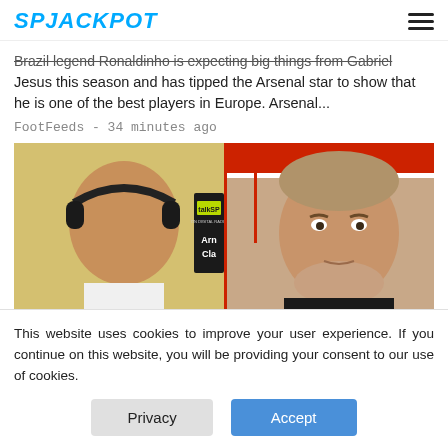SP JACKPOT
Brazil legend Ronaldinho is expecting big things from Gabriel Jesus this season and has tipped the Arsenal star to show that he is one of the best players in Europe. Arsenal...
FootFeeds - 34 minutes ago
[Figure (photo): Composite image: left half shows a man wearing headphones at a talkSPORT radio studio with 'talkSP ON DIGITAL RADIO' text and 'Arn Cla' text visible; right half shows Jurgen Klopp at a press conference against a red and white sponsor backdrop]
This website uses cookies to improve your user experience. If you continue on this website, you will be providing your consent to our use of cookies.
Privacy
Accept